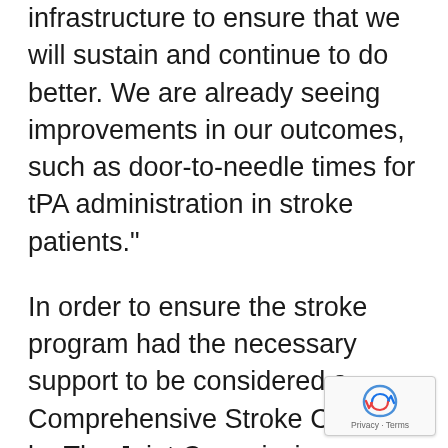infrastructure to ensure that we will sustain and continue to do better. We are already seeing improvements in our outcomes, such as door-to-needle times for tPA administration in stroke patients."
In order to ensure the stroke program had the necessary support to be considered a Comprehensive Stroke Center by The Joint Commission, several new team members were added, including additional stroke coordinators, data extractors and advanced nurse practitioners. Harrison credits hospital administration with ensuring the the Institute's success throughout the certification ende... "Our administrative leadership team was